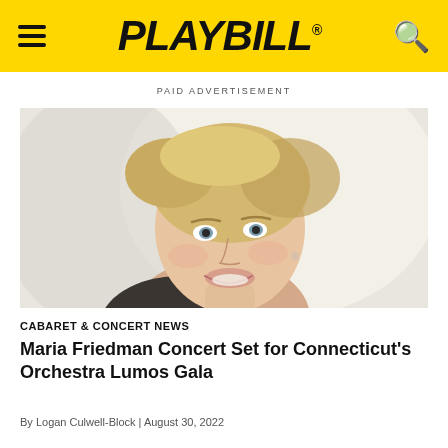PLAYBILL
PAID ADVERTISEMENT
[Figure (photo): Portrait photo of a smiling blonde woman (Maria Friedman) against a light background, bare-shouldered, looking at camera]
CABARET & CONCERT NEWS
Maria Friedman Concert Set for Connecticut's Orchestra Lumos Gala
By Logan Culwell-Block | August 30, 2022